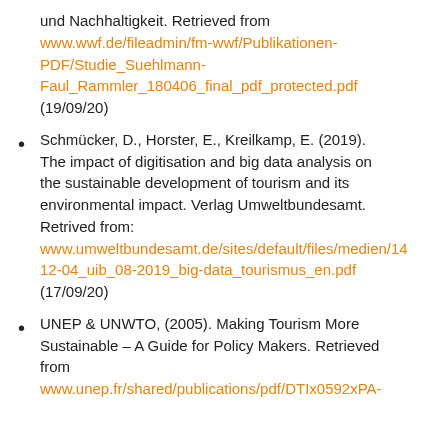und Nachhaltigkeit. Retrieved from www.wwf.de/fileadmin/fm-wwf/Publikationen-PDF/Studie_Suehlmann-Faul_Rammler_180406_final_pdf_protected.pdf (19/09/20)
Schmücker, D., Horster, E., Kreilkamp, E. (2019). The impact of digitisation and big data analysis on the sustainable development of tourism and its environmental impact. Verlag Umweltbundesamt. Retrived from: www.umweltbundesamt.de/sites/default/files/medien/14 12-04_uib_08-2019_big-data_tourismus_en.pdf (17/09/20)
UNEP & UNWTO, (2005). Making Tourism More Sustainable – A Guide for Policy Makers. Retrieved from www.unep.fr/shared/publications/pdf/DTIx0592xPA-